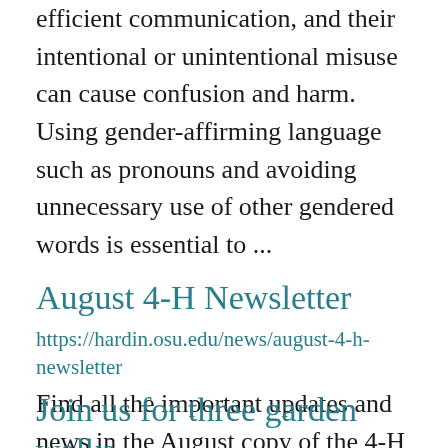efficient communication, and their intentional or unintentional misuse can cause confusion and harm. Using gender-affirming language such as pronouns and avoiding unnecessary use of other gendered words is essential to ...
August 4-H Newsletter
https://hardin.osu.edu/news/august-4-h-newsletter
Find all the important updates and news in the August copy of the 4-H Newsletter! August Newsletter ...
Join us for three garden walks